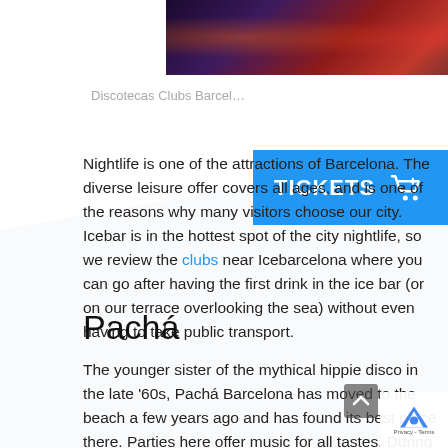[Figure (photo): Photo strip of a DJ at a nightclub with mixing equipment and crowd lighting]
Discotecas Clubs Barcel...
[Figure (other): Blue TICKETS button with shopping cart icon]
Nightlife is one of the attractions of Barcelona. The diverse leisure offer covers all ages, and is one of the reasons why many visitors choose our city. Icebar is in the hottest spot of the city nightlife, so we review the clubs near Icebarcelona where you can go after having the first drink in the ice bar (or on our terrace overlooking the sea) without even having to take public transport.
Pachá
The younger sister of the mythical hippie disco in the late '60s, Pachá Barcelona has moved to the beach a few years ago and has found its best place there. Parties here offer music for all tastes. During the week urban rhythms grooves (R&B, Hip Hop) as well as house and Latin rhythms (yes, also reggaeton) at the Pacha-chá party, which became popular recalling the name of one of its Ibizan rooms. The weekends give way to bits and the most danceable electronic music